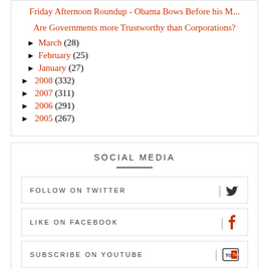Friday Afternoon Roundup - Obama Bows Before his M...
Are Governments more Trustworthy than Corporations?
► March (28)
► February (25)
► January (27)
► 2008 (332)
► 2007 (311)
► 2006 (291)
► 2005 (267)
SOCIAL MEDIA
FOLLOW ON TWITTER
LIKE ON FACEBOOK
SUBSCRIBE ON YOUTUBE